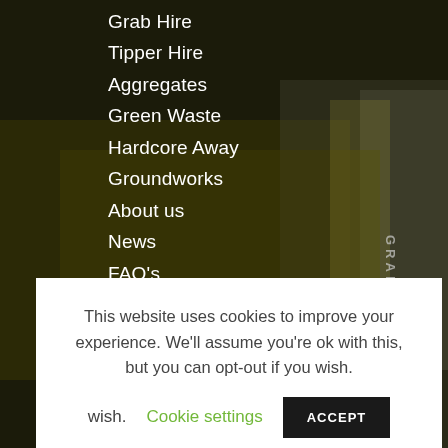[Figure (photo): Dark-tinted background photograph of yellow grab hire trucks and construction equipment]
Grab Hire
Tipper Hire
Aggregates
Green Waste
Hardcore Away
Groundworks
About us
News
FAQ's
Privacy Policy
This website uses cookies to improve your experience. We'll assume you're ok with this, but you can opt-out if you wish.  Cookie settings  ACCEPT
Haverhill